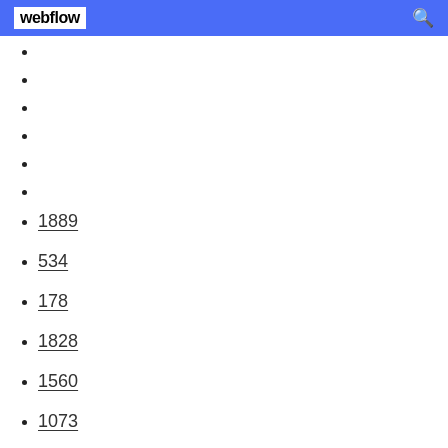webflow
1889
534
178
1828
1560
1073